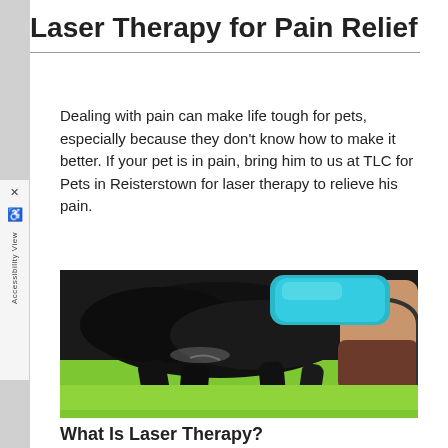Laser Therapy for Pain Relief
Dealing with pain can make life tough for pets, especially because they don't know how to make it better. If your pet is in pain, bring him to us at TLC for Pets in Reisterstown for laser therapy to relieve his pain.
[Figure (photo): A black dog lying on a bright green surface receiving laser therapy treatment from a person holding a teal/turquoise laser device against the dog's back.]
What Is Laser Therapy?